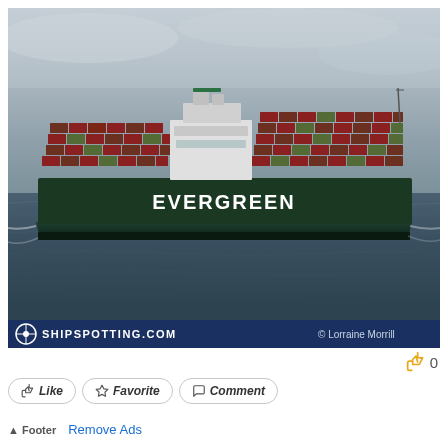[Figure (photo): An Evergreen container ship sailing on choppy gray ocean water under overcast skies. The dark green hull is loaded with colorful shipping containers (red, green, brown). White superstructure visible mid-ship. The word EVERGREEN is written in white on the hull.]
SHIPSPOTTING.COM  © Lorraine Morrill
0
Like
Favorite
Comment
Footer  Remove Ads